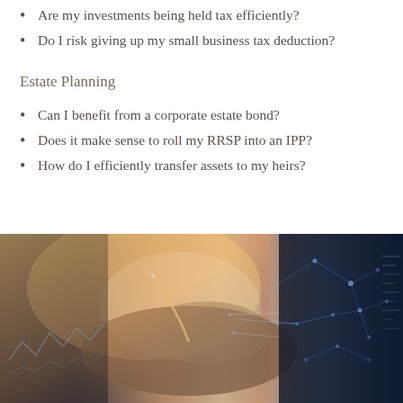Are my investments being held tax efficiently?
Do I risk giving up my small business tax deduction?
Estate Planning
Can I benefit from a corporate estate bond?
Does it make sense to roll my RRSP into an IPP?
How do I efficiently transfer assets to my heirs?
[Figure (photo): Close-up photo of hands writing with a pen on paper with digital finance/data visualization overlay graphic on right side, warm lighting on left]